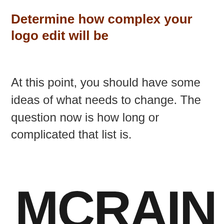Determine how complex your logo edit will be
At this point, you should have some ideas of what needs to change. The question now is how long or complicated that list is.
[Figure (logo): Partial logo text reading 'MCRAIN' or similar, large bold black letters cropped at bottom of page]